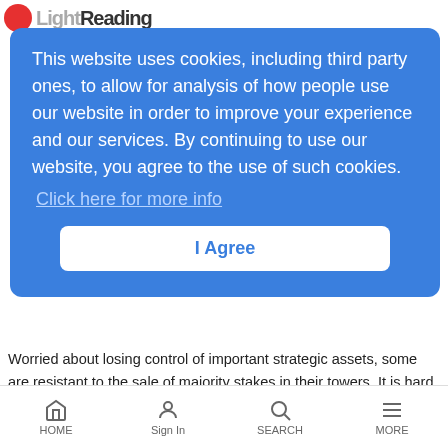Light Reading
rator in
y
t much
een
store
[Figure (screenshot): Cookie consent overlay on Light Reading website with blue background. Text reads: 'This website uses cookies, including third party ones, to allow for analysis of how people use our website in order to improve your experience and our services. By continuing to use our website, you agree to the use of such cookies.' with a 'Click here for more info' link and an 'I Agree' button.]
Worried about losing control of important strategic assets, some are resistant to the sale of majority stakes in their towers. It is hard to imagine they would attach less strategic importance to potential edge sites.
Want to know more about 5G? Check out our dedicated 5G content channel here on Light Reading.
HOME  Sign In  SEARCH  MORE